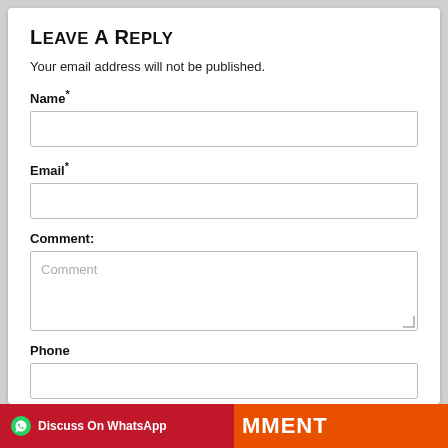Leave A Reply
Your email address will not be published.
Name*
Email*
Comment:
Phone
Discuss On WhatsApp   MMENT